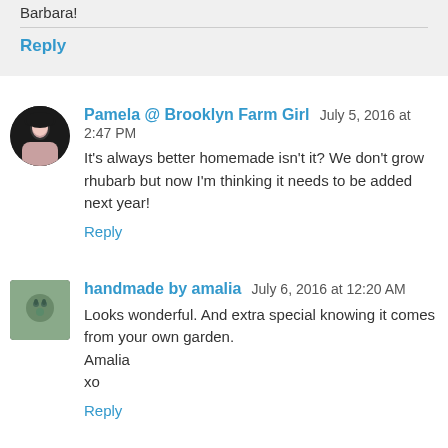Barbara!
Reply
Pamela @ Brooklyn Farm Girl July 5, 2016 at 2:47 PM
It's always better homemade isn't it? We don't grow rhubarb but now I'm thinking it needs to be added next year!
Reply
handmade by amalia July 6, 2016 at 12:20 AM
Looks wonderful. And extra special knowing it comes from your own garden.
Amalia
xo
Reply
Tricia Buice July 9, 2016 at 6:02 PM